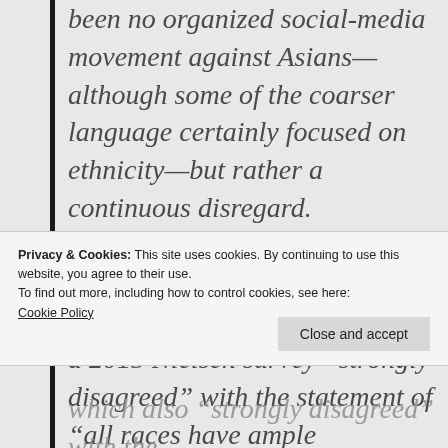been no organized social-media movement against Asians—although some of the coarser language certainly focused on ethnicity—but rather a continuous disregard.

Nevertheless, 49 percent of Asian American respondents to a 2015 Nielsen survey “strongly disagreed” with the statement of “all races have ample representation/inclusion in
Privacy & Cookies: This site uses cookies. By continuing to use this website, you agree to their use.
To find out more, including how to control cookies, see here: Cookie Policy
which also “strongly disagreed” with the statement...